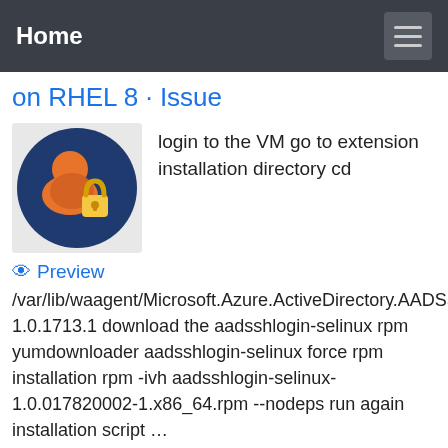Home
on RHEL 8 · Issue
[Figure (illustration): Avatar icon showing a person with a lock, on a dark blue circular background]
login to the VM go to extension installation directory cd
Preview
/var/lib/waagent/Microsoft.Azure.ActiveDirectory.AADSSHLog 1.0.1713.1 download the aadsshlogin-selinux rpm yumdownloader aadsshlogin-selinux force rpm installation rpm -ivh aadsshlogin-selinux-1.0.017820002-1.x86_64.rpm --nodeps run again installation script …
See Also: Azure Sso Sign In Error 50058
(64 People Used)
Visit Login ▶
Azure aadsshlogin extension causes sshd_corrupt Stack